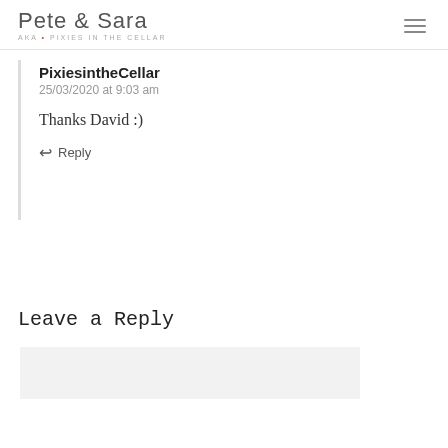Pete & Sara AKA • PIXIES IN THE CELLAR
PixiesintheCellar
25/03/2020 at 9:03 am

Thanks David :)

Reply
Leave a Reply